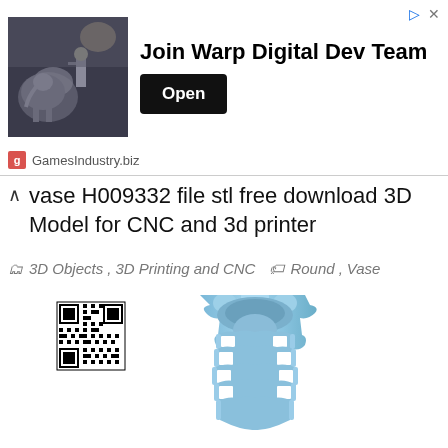[Figure (infographic): Advertisement banner with a dark fantasy/sci-fi image showing a figure with an elephant, with text 'Join Warp Digital Dev Team' and an 'Open' button, sourced from GamesIndustry.biz]
vase H009332 file stl free download 3D Model for CNC and 3d printer
3D Objects, 3D Printing and CNC  Round, Vase
[Figure (illustration): 3D rendered model of a blue cylindrical vase with ribbed/lattice pattern on the sides and a decorative scalloped top edge, shown from a top-angled perspective. A QR code is visible in the upper left of the image.]